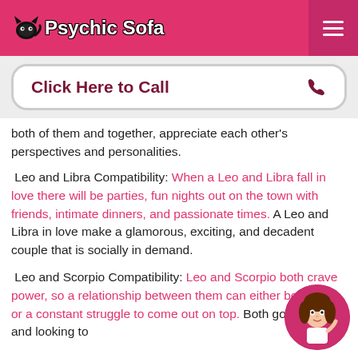Psychic Sofa
[Figure (illustration): Click Here to Call button with phone icon]
both of them and together, appreciate each other's perspectives and personalities.
Leo and Libra Compatibility: When a Leo and Libra fall in love there will be parties, fun nights out on the town with friends, intimate dinners, and passionate times. A Leo and Libra in love make a glamorous, exciting, and decadent couple that is socially in demand.
Leo and Scorpio Compatibility: Leo and Scorpio both crave power, so a relationship between them can either be red hot, or a constant struggle to come out on top. Both goal-oriented and looking to